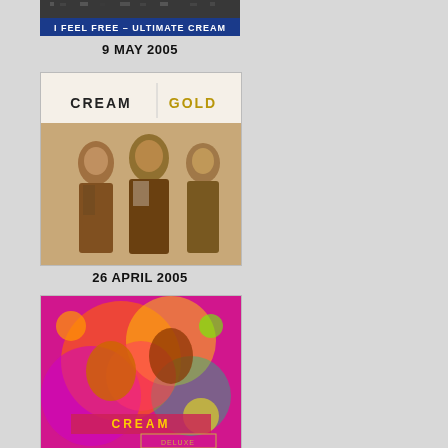[Figure (photo): Album cover for 'I Feel Free - Ultimate Cream' - dark image with white text on a dark banner, partially visible at top of page]
9 MAY 2005
[Figure (photo): Album cover for 'Cream Gold' - sepia-toned photo of three band members walking, with 'CREAM | GOLD' text at top]
26 APRIL 2005
[Figure (photo): Album cover showing psychedelic colorful artwork with Cream band members, 'DELUXE Edition' text at bottom]